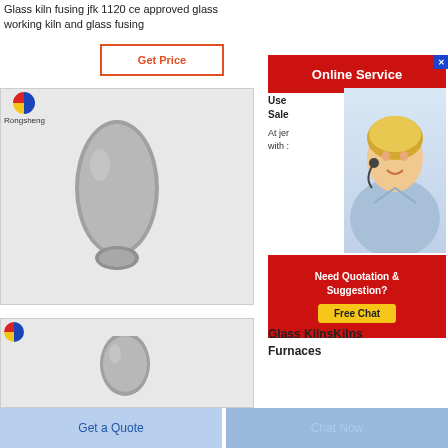Glass kiln fusing jfk 1120 ce approved glass working kiln and glass fusing
Get Price
[Figure (photo): Gray stone/powder shaped object with Rongsheng logo in top left corner]
Online Service
Use Sale At jer with :
[Figure (photo): Customer service agent - blonde woman with headset smiling]
Need Quotation & Suggestion? Free Chat
[Figure (photo): Second gray stone/powder shaped object with Rongsheng logo]
Glass KilnsKilns Furnaces
Get a Quote
Chat Now